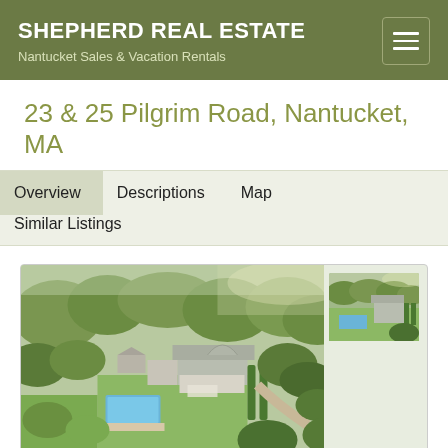SHEPHERD REAL ESTATE — Nantucket Sales & Vacation Rentals
23 & 25 Pilgrim Road, Nantucket, MA
Overview
Descriptions
Map
Similar Listings
[Figure (photo): Aerial view of a large estate property on Nantucket with shingle-style houses, pool, green lawns, and surrounding trees. A thumbnail of a second aerial view is shown in the upper right corner.]